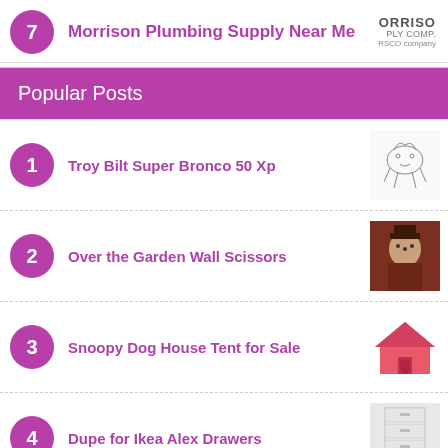7  Morrison Plumbing Supply Near Me
Popular Posts
1  Troy Bilt Super Bronco 50 Xp
2  Over the Garden Wall Scissors
3  Snoopy Dog House Tent for Sale
4  Dupe for Ikea Alex Drawers
5  Chandelier Crystals at Hobby Lobby